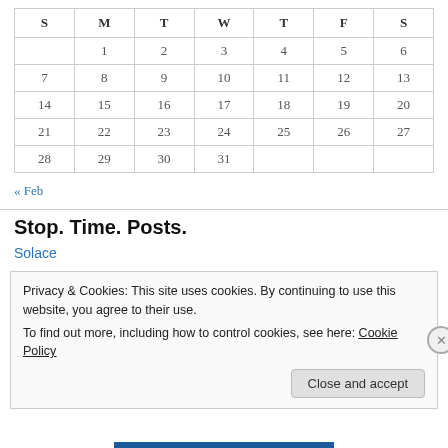| S | M | T | W | T | F | S |
| --- | --- | --- | --- | --- | --- | --- |
|  | 1 | 2 | 3 | 4 | 5 | 6 |
| 7 | 8 | 9 | 10 | 11 | 12 | 13 |
| 14 | 15 | 16 | 17 | 18 | 19 | 20 |
| 21 | 22 | 23 | 24 | 25 | 26 | 27 |
| 28 | 29 | 30 | 31 |  |  |  |
« Feb
Stop. Time. Posts.
Solace
Privacy & Cookies: This site uses cookies. By continuing to use this website, you agree to their use.
To find out more, including how to control cookies, see here: Cookie Policy
Close and accept